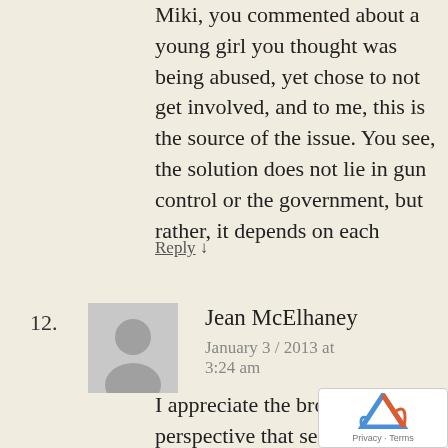Miki, you commented about a young girl you thought was being abused, yet chose to not get involved, and to me, this is the source of the issue. You see, the solution does not lie in gun control or the government, but rather, it depends on each
Reply ↓
12.
[Figure (illustration): Generic grey avatar/profile picture silhouette]
Jean McElhaney
January 3 / 2013 at 3:24 am
I appreciate the broader perspective that sees how a culture of violence